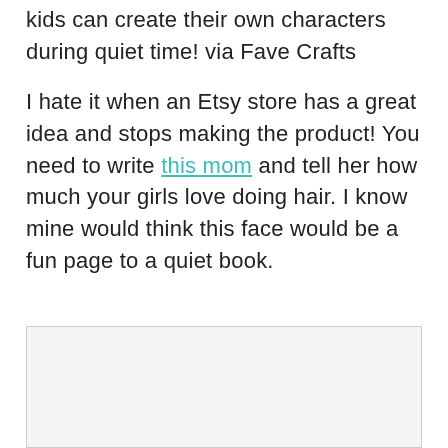kids can create their own characters during quiet time!   via Fave Crafts
I hate it when an Etsy store has a great idea and stops making the product!   You need to write this mom and tell her how much your girls love doing hair.   I know mine would think this face would be a fun page to a quiet book.
[Figure (photo): A light gray image placeholder box at the bottom of the page.]